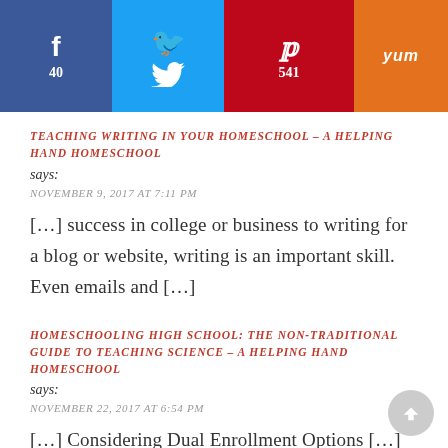[Figure (infographic): Social share bar with Facebook (40), Twitter, Pinterest (541), and Yummly buttons]
TEACHING WRITING IN YOUR HOMESCHOOL – A HELPING HAND HOMESCHOOL says:
NOVEMBER 9, 2017 AT 7:11 PM
[…] success in college or business to writing for a blog or website, writing is an important skill. Even emails and […]
HOMESCHOOLING HIGH SCHOOL: THE NON-TRADITIONAL GUIDE TO TEACHING SCIENCE – A HELPING HAND HOMESCHOOL says:
NOVEMBER 22, 2017 AT 6:54 PM
[…] Considering Dual Enrollment Options […]